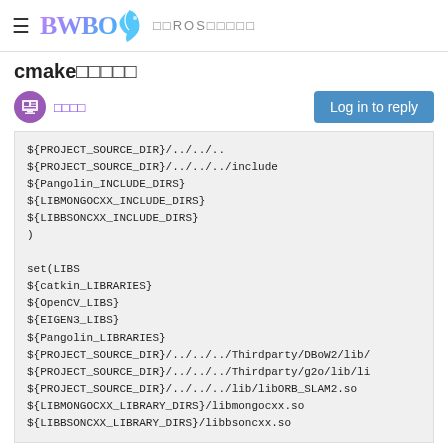≡ BWBOG □□ROS□□□□□
cmake□□□□□
□□□□
Log in to reply
${PROJECT_SOURCE_DIR}/../../..
${PROJECT_SOURCE_DIR}/../../../include
${Pangolin_INCLUDE_DIRS}
${LIBMONGOCXX_INCLUDE_DIRS}
${LIBBSONCXX_INCLUDE_DIRS}
)

set(LIBS
${catkin_LIBRARIES}
${OpenCV_LIBS}
${EIGEN3_LIBS}
${Pangolin_LIBRARIES}
${PROJECT_SOURCE_DIR}/../../../Thirdparty/DBoW2/lib/
${PROJECT_SOURCE_DIR}/../../../Thirdparty/g2o/lib/li
${PROJECT_SOURCE_DIR}/../../../lib/libORB_SLAM2.so
${LIBMONGOCXX_LIBRARY_DIRS}/libmongocxx.so
${LIBBSONCXX_LIBRARY_DIRS}/libbsoncxx.so